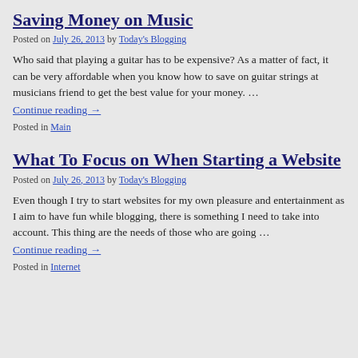Saving Money on Music
Posted on July 26, 2013 by Today's Blogging
Who said that playing a guitar has to be expensive? As a matter of fact, it can be very affordable when you know how to save on guitar strings at musicians friend to get the best value for your money. …
Continue reading →
Posted in Main
What To Focus on When Starting a Website
Posted on July 26, 2013 by Today's Blogging
Even though I try to start websites for my own pleasure and entertainment as I aim to have fun while blogging, there is something I need to take into account. This thing are the needs of those who are going …
Continue reading →
Posted in Internet